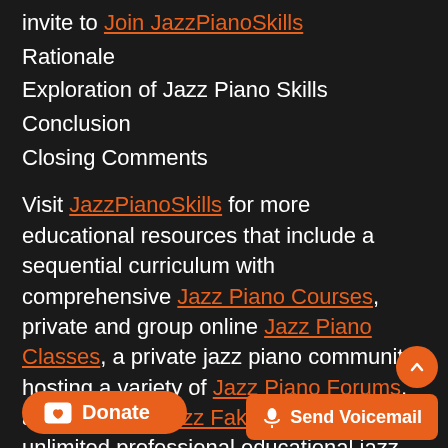invite to Join JazzPianoSkills
Rationale
Exploration of Jazz Piano Skills
Conclusion
Closing Comments
Visit JazzPianoSkills for more educational resources that include a sequential curriculum with comprehensive Jazz Piano Courses, private and group online Jazz Piano Classes, a private jazz piano community hosting a variety of Jazz Piano Forums, an interactive Jazz Fake Book, plus unlimited professional educational jazz piano support.
If you wish to support JazzPianoSkills with a do so easily through the JazzPianoSkills Paypal Account